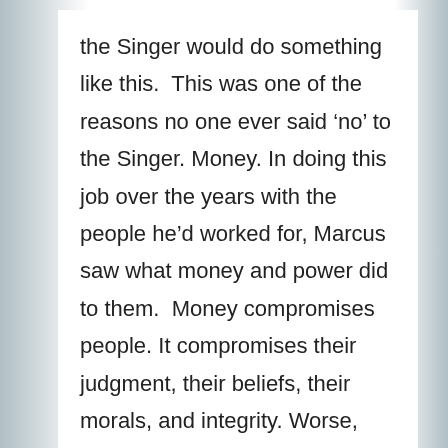the Singer would do something like this.  This was one of the reasons no one ever said 'no' to the Singer. Money. In doing this job over the years with the people he'd worked for, Marcus saw what money and power did to them.  Money compromises people. It compromises their judgment, their beliefs, their morals, and integrity. Worse, there was never enough. Everyone, including Marcus, always wanted more.  But Marcus knew he had enough. His life wasn't glamorous, but it was comfortable. He'd turned a Security guard's wages into a pretty good life over the years and he never felt